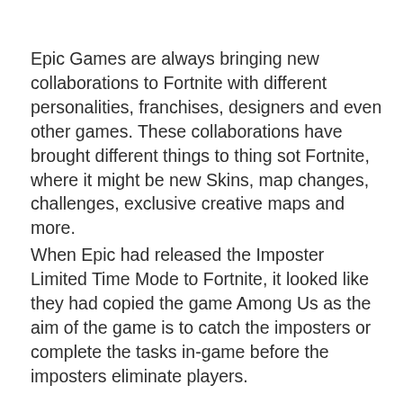Epic Games are always bringing new collaborations to Fortnite with different personalities, franchises, designers and even other games. These collaborations have brought different things to thing sot Fortnite, where it might be new Skins, map changes, challenges, exclusive creative maps and more.
When Epic had released the Imposter Limited Time Mode to Fortnite, it looked like they had copied the game Among Us as the aim of the game is to catch the imposters or complete the tasks in-game before the imposters eliminate players.
Epic did acknowledge that the mode was inspired by the viral game at the time in October and now new cosmetics have been leaked to show there is a collaboration between Fortnite and Among Us.